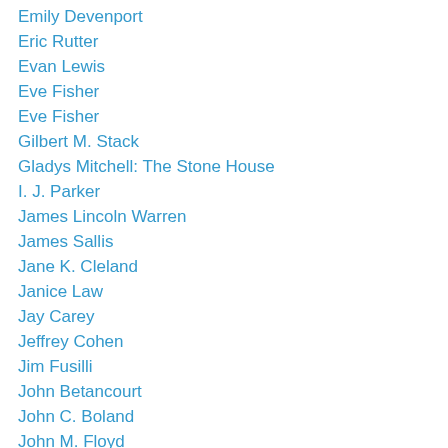Emily Devenport
Eric Rutter
Evan Lewis
Eve Fisher
Eve Fisher
Gilbert M. Stack
Gladys Mitchell: The Stone House
I. J. Parker
James Lincoln Warren
James Sallis
Jane K. Cleland
Janice Law
Jay Carey
Jeffrey Cohen
Jim Fusilli
John Betancourt
John C. Boland
John M. Floyd
John R. Corrigan
John Shepphird